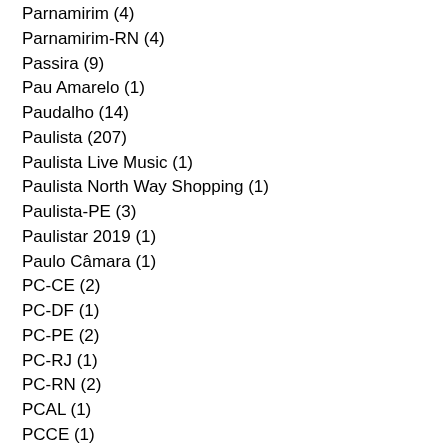Parnamirim (4)
Parnamirim-RN (4)
Passira (9)
Pau Amarelo (1)
Paudalho (14)
Paulista (207)
Paulista Live Music (1)
Paulista North Way Shopping (1)
Paulista-PE (3)
Paulistar 2019 (1)
Paulo Câmara (1)
PC-CE (2)
PC-DF (1)
PC-PE (2)
PC-RJ (1)
PC-RN (2)
PCAL (1)
PCCE (1)
PCDF (1)
PCPA (1)
PCPE (1)
PCRN (2)
PE do Campus (2)